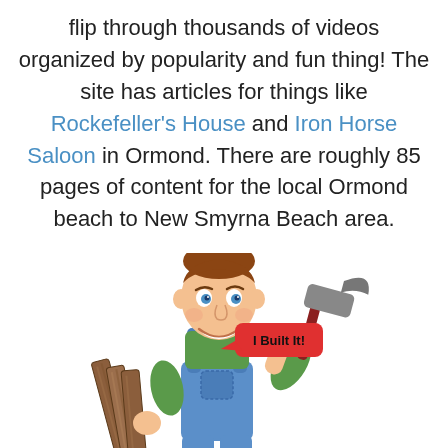flip through thousands of videos organized by popularity and fun thing!  The site has articles for things like Rockefeller's House and Iron Horse Saloon in Ormond.  There are roughly 85 pages of content for the local Ormond beach to New Smyrna Beach area.
[Figure (illustration): Cartoon illustration of a smiling handyman/builder character wearing blue overalls and a green shirt, holding wooden planks in his left hand and a hammer raised in his right hand. A red speech bubble next to him reads 'I Built It!']